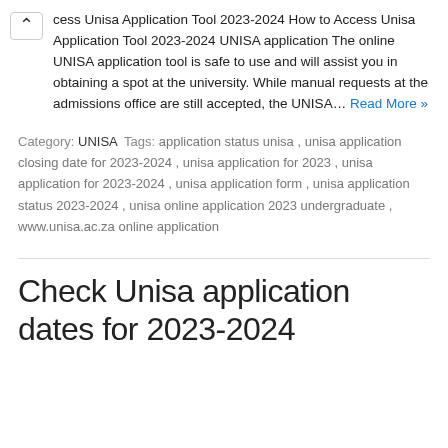cess Unisa Application Tool 2023-2024 How to Access Unisa Application Tool 2023-2024 UNISA application The online UNISA application tool is safe to use and will assist you in obtaining a spot at the university. While manual requests at the admissions office are still accepted, the UNISA… Read More »
Category: UNISA  Tags:  application status unisa ,  unisa application closing date for 2023-2024 ,  unisa application for 2023 ,  unisa application for 2023-2024 ,  unisa application form ,  unisa application status 2023-2024 ,  unisa online application 2023 undergraduate ,  www.unisa.ac.za online application
Check Unisa application dates for 2023-2024